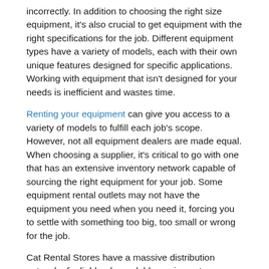incorrectly. In addition to choosing the right size equipment, it's also crucial to get equipment with the right specifications for the job. Different equipment types have a variety of models, each with their own unique features designed for specific applications. Working with equipment that isn't designed for your needs is inefficient and wastes time.
Renting your equipment can give you access to a variety of models to fulfill each job's scope. However, not all equipment dealers are made equal. When choosing a supplier, it's critical to go with one that has an extensive inventory network capable of sourcing the right equipment for your job. Some equipment rental outlets may not have the equipment you need when you need it, forcing you to settle with something too big, too small or wrong for the job.
Cat Rental Stores have a massive distribution network of reliable, dependable equipment. Whatever equipment you need for the job, you can find through your local Cat Rental Store. Our equipment representatives also have the expertise to help you choose the right equipment for the job so you can complete your contracts more efficiently.
6. NO NEED FOR STORAGE
When it comes to owning construction equipment, your costs